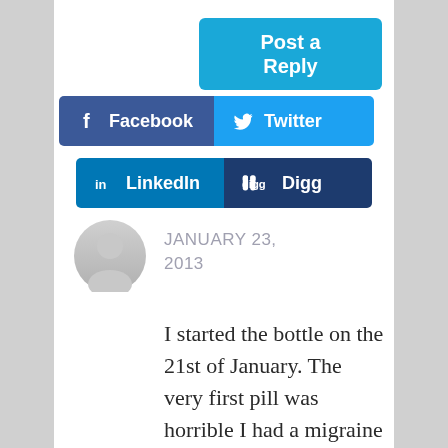[Figure (screenshot): Post a Reply button in cyan/teal blue]
[Figure (screenshot): Social sharing buttons: Facebook (dark blue), Twitter (light blue), LinkedIn (medium blue), Digg (dark navy)]
[Figure (photo): User avatar - grey circular profile image]
JANUARY 23, 2013
I started the bottle on the 21st of January. The very first pill was horrible I had a migraine and jawbone pain,